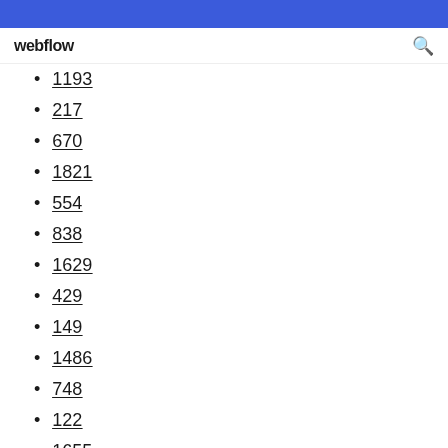webflow
1193
217
670
1821
554
838
1629
429
149
1486
748
122
1655